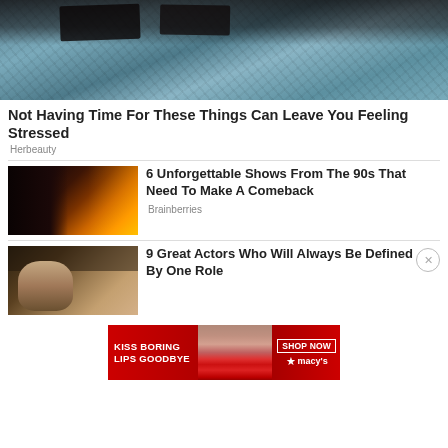[Figure (photo): People near a tiled pool or mosaic surface, dark figures visible at top]
Not Having Time For These Things Can Leave You Feeling Stressed
Herbeauty
[Figure (photo): Woman in warrior costume with fire in background - TV show still]
6 Unforgettable Shows From The 90s That Need To Make A Comeback
Brainberries
[Figure (photo): Young woman looking upward - actress still]
9 Great Actors Who Will Always Be Defined By One Role
[Figure (photo): Macy's advertisement: KISS BORING LIPS GOODBYE - SHOP NOW - with woman's lips photo]